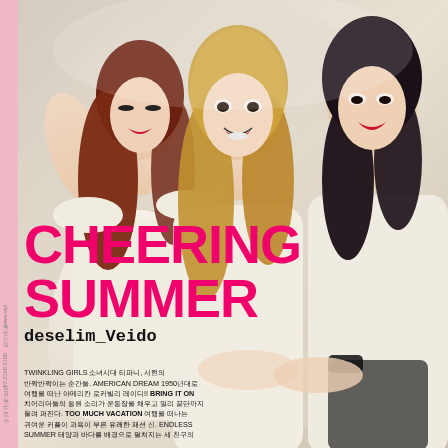[Figure (photo): Three young women (members of Girls' Generation/SNSD — Tiffany, Seohyun, and another) wearing white/cream dresses, posing together against a light background. They have red lips and are smiling.]
CHEERING SUMMER
deselim_Veido
TWINKLING GIRLS 소녀시대 티파니, 서현의 반짝반짝이는 순간들. AMERICAN DREAM 1950년대로 여행을 떠난 아메리칸 로커빌리 레이디!! BRING IT ON 치어리더들의 응원 소리가 운동장을 채우고 멀리 끝단까지 울려 퍼진다. TOO MUCH VACATION 여행을 떠나는 귀여운 커플이 과욕이 부른 유쾌한 패션 신. ENDLESS SUMMER 태양과 바다를 배경으로 펼쳐지는 세 친구의